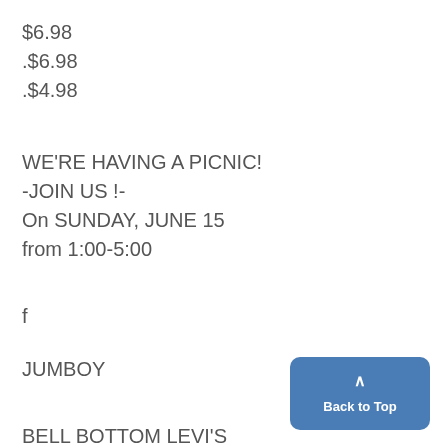$6.98
.$6.98
.$4.98
WE'RE HAVING A PICNIC!
-JOIN US !-
On SUNDAY, JUNE 15
from 1:00-5:00
f
JUMBOY
BELL BOTTOM LEVI'S